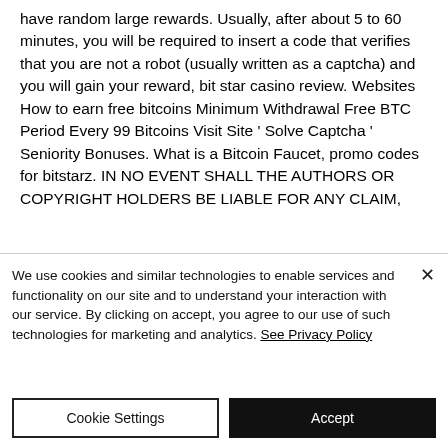have random large rewards. Usually, after about 5 to 60 minutes, you will be required to insert a code that verifies that you are not a robot (usually written as a captcha) and you will gain your reward, bit star casino review. Websites How to earn free bitcoins Minimum Withdrawal Free BTC Period Every 99 Bitcoins Visit Site ' Solve Captcha ' Seniority Bonuses. What is a Bitcoin Faucet, promo codes for bitstarz. IN NO EVENT SHALL THE AUTHORS OR COPYRIGHT HOLDERS BE LIABLE FOR ANY CLAIM,
We use cookies and similar technologies to enable services and functionality on our site and to understand your interaction with our service. By clicking on accept, you agree to our use of such technologies for marketing and analytics. See Privacy Policy
Cookie Settings
Accept